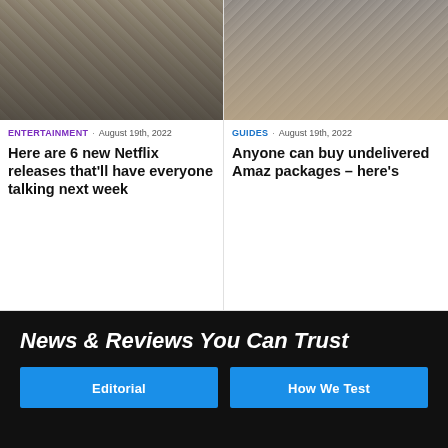[Figure (photo): Person sitting in a modern chair in an office or lounge setting]
[Figure (photo): Amazon delivery packages near a gate or doorway]
ENTERTAINMENT · August 19th, 2022
GUIDES · August 19th, 2022
Here are 6 new Netflix releases that'll have everyone talking next week
Anyone can buy undelivered Amaz packages – here's
News & Reviews You Can Trust
Editorial
How We Test